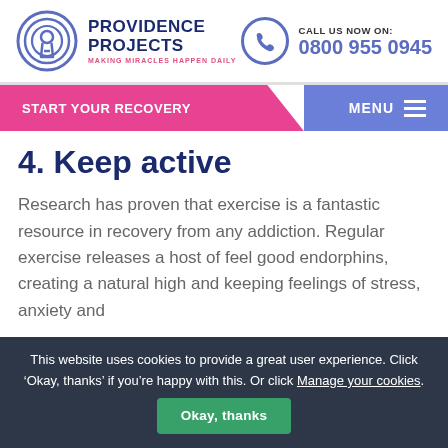[Figure (logo): Providence Projects logo — circular key/signal icon with blue concentric arcs, beside bold text 'PROVIDENCE PROJECTS' and tagline 'MAKING MIRACLES HAPPEN DAILY']
CALL US NOW ON: 0800 955 0945
START YOUR RECOVERY | MENU
4. Keep active
Research has proven that exercise is a fantastic resource in recovery from any addiction. Regular exercise releases a host of feel good endorphins, creating a natural high and keeping feelings of stress, anxiety and
This website uses cookies to provide a great user experience. Click 'Okay, thanks' if you're happy with this. Or click Manage your cookies. Okay, thanks